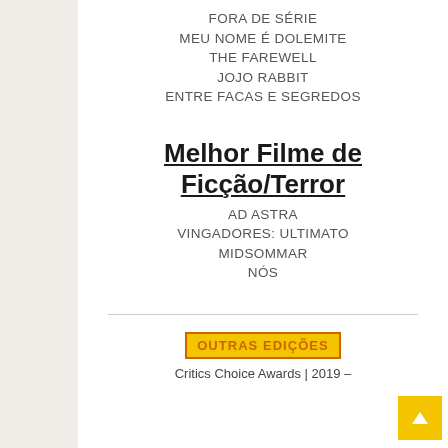FORA DE SÉRIE
MEU NOME É DOLEMITE
THE FAREWELL
JOJO RABBIT
ENTRE FACAS E SEGREDOS
Melhor Filme de Ficção/Terror
AD ASTRA
VINGADORES: ULTIMATO
MIDSOMMAR
NÓS
OUTRAS EDIÇÕES
Critics Choice Awards | 2019 –